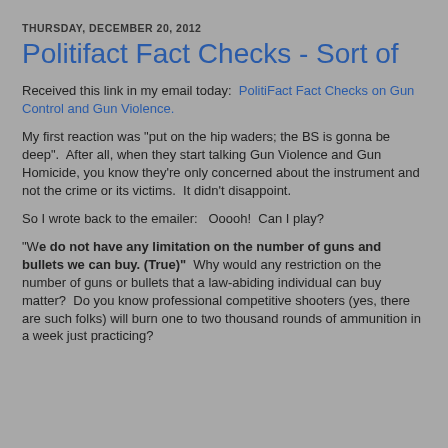THURSDAY, DECEMBER 20, 2012
Politifact Fact Checks - Sort of
Received this link in my email today:  PolitiFact Fact Checks on Gun Control and Gun Violence.
My first reaction was "put on the hip waders; the BS is gonna be deep".  After all, when they start talking Gun Violence and Gun Homicide, you know they're only concerned about the instrument and not the crime or its victims.  It didn't disappoint.
So I wrote back to the emailer:   Ooooh!  Can I play?
"We do not have any limitation on the number of guns and bullets we can buy. (True)"  Why would any restriction on the number of guns or bullets that a law-abiding individual can buy matter?  Do you know professional competitive shooters (yes, there are such folks) will burn one to two thousand rounds of ammunition in a week just practicing?